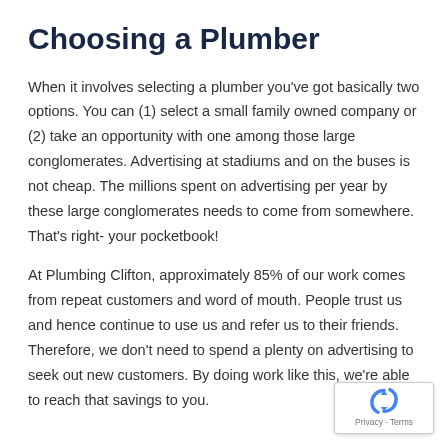Choosing a Plumber
When it involves selecting a plumber you've got basically two options. You can (1) select a small family owned company or (2) take an opportunity with one among those large conglomerates. Advertising at stadiums and on the buses is not cheap. The millions spent on advertising per year by these large conglomerates needs to come from somewhere. That's right- your pocketbook!
At Plumbing Clifton, approximately 85% of our work comes from repeat customers and word of mouth. People trust us and hence continue to use us and refer us to their friends. Therefore, we don't need to spend a plenty on advertising to seek out new customers. By doing work like this, we're able to reach that savings to you.
[Figure (logo): reCAPTCHA badge with circular arrow icon and Privacy · Terms text]